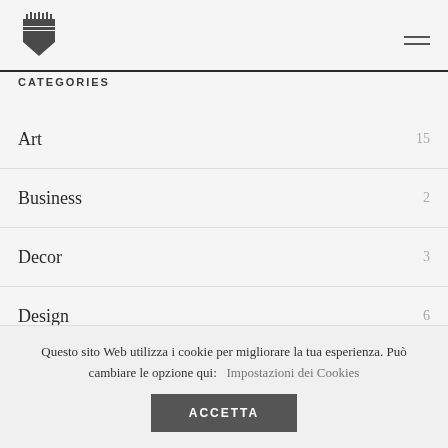CATEGORIES
Art 15
Business 2
Decor 3
Design 6
Development 1
Questo sito Web utilizza i cookie per migliorare la tua esperienza. Può cambiare le opzione qui: Impostazioni dei Cookies
ACCETTA